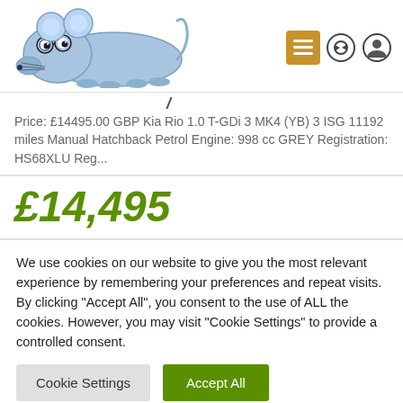[Figure (logo): Blue cartoon mouse logo for a car dealership website, with hamburger menu icon (orange/golden button), refresh icon, and user/profile icon in the top right]
Price: £14495.00 GBP Kia Rio 1.0 T-GDi 3 MK4 (YB) 3 ISG 11192 miles Manual Hatchback Petrol Engine: 998 cc GREY Registration: HS68XLU Reg...
£14,495
We use cookies on our website to give you the most relevant experience by remembering your preferences and repeat visits. By clicking "Accept All", you consent to the use of ALL the cookies. However, you may visit "Cookie Settings" to provide a controlled consent.
Cookie Settings | Accept All